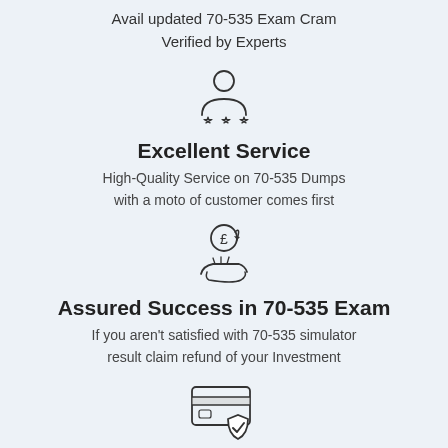Avail updated 70-535 Exam Cram
Verified by Experts
[Figure (illustration): Person icon with three stars below, representing a rating or expert endorsement]
Excellent Service
High-Quality Service on 70-535 Dumps with a moto of customer comes first
[Figure (illustration): Hand holding a coin with pound sign, representing money/refund]
Assured Success in 70-535 Exam
If you aren't satisfied with 70-535 simulator result claim refund of your Investment
[Figure (illustration): Credit card with a security shield checkmark icon]
Highly secure process
Risk free payment process